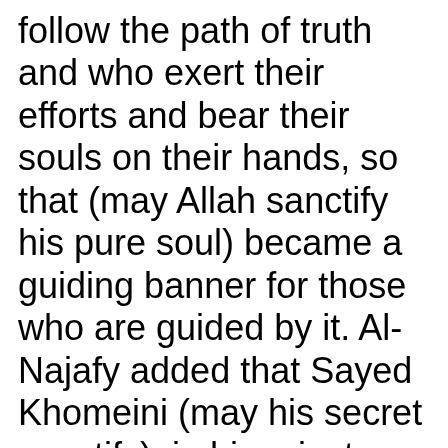follow the path of truth and who exert their efforts and bear their souls on their hands, so that (may Allah sanctify his pure soul) became a guiding banner for those who are guided by it. Al-Najafy added that Sayed Khomeini (may his secret sanctify), in his private and public life, was serious about being within the framework of the religious of practicing and